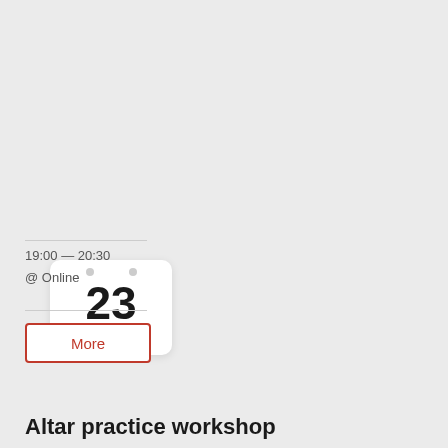[Figure (illustration): Calendar icon showing the number 23 and the month June, white rounded square with two grey circle holes at top]
19:00 — 20:30
@ Online
More
Altar practice workshop